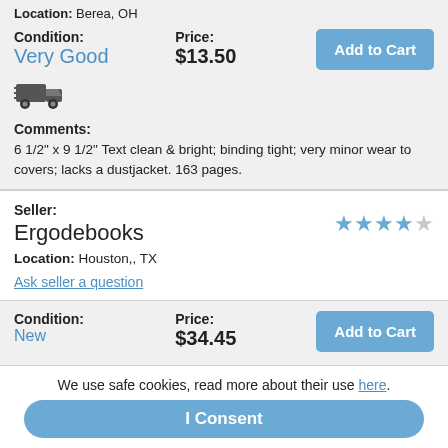Location: Berea, OH
Condition: Very Good   Price: $13.50
[Figure (illustration): Truck/shipping icon]
Comments: 6 1/2" x 9 1/2" Text clean & bright; binding tight; very minor wear to covers; lacks a dustjacket. 163 pages.
Seller: Ergodebooks
Location: Houston,, TX
Ask seller a question
Condition: New   Price: $34.45
We use safe cookies, read more about their use here.
I Consent